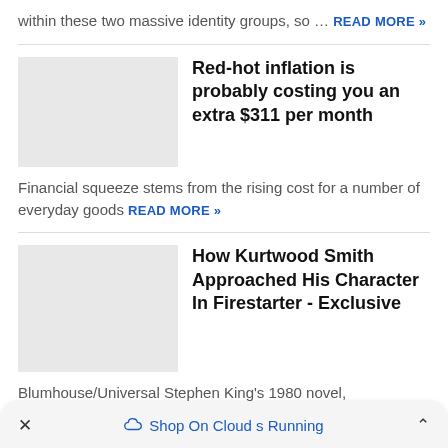within these two massive identity groups, so … READ MORE »
[Figure (photo): Thumbnail image placeholder (light gray rectangle)]
Red-hot inflation is probably costing you an extra $311 per month
Financial squeeze stems from the rising cost for a number of everyday goods READ MORE »
[Figure (photo): Thumbnail image placeholder (light gray rectangle)]
How Kurtwood Smith Approached His Character In Firestarter - Exclusive
Blumhouse/Universal Stephen King's 1980 novel,
× Shop On Cloud s Running ^